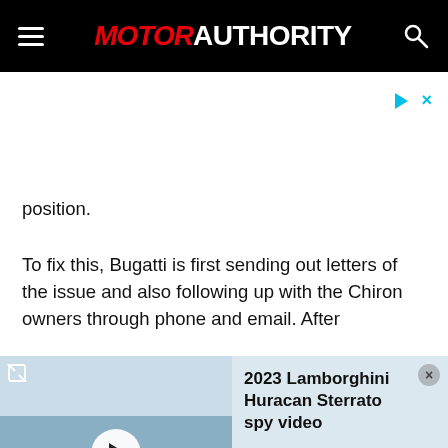MOTOR AUTHORITY
position.
To fix this, Bugatti is first sending out letters of the issue and also following up with the Chiron owners through phone and email. After
[Figure (screenshot): Video player overlay showing a car driving in snowy conditions, with title '2023 Lamborghini Huracan Sterrato spy video' and Motor Authority watermark]
[Figure (screenshot): Vrbo advertisement: 'Find family getaways nearby' with 'Book early' button]